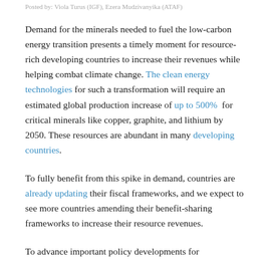Posted by: Viola Turus (IGF), Ezera Mudzivanyika (ATAF)
Demand for the minerals needed to fuel the low-carbon energy transition presents a timely moment for resource-rich developing countries to increase their revenues while helping combat climate change. The clean energy technologies for such a transformation will require an estimated global production increase of up to 500% for critical minerals like copper, graphite, and lithium by 2050. These resources are abundant in many developing countries.
To fully benefit from this spike in demand, countries are already updating their fiscal frameworks, and we expect to see more countries amending their benefit-sharing frameworks to increase their resource revenues.
To advance important policy developments for